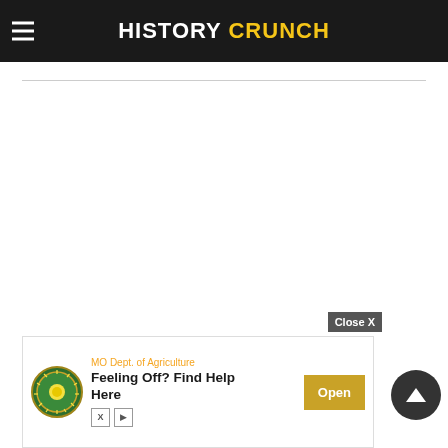HISTORY CRUNCH
argued that states should be allowed to decide for themselves if they wanted to allow slavery.
[Figure (screenshot): Advertisement banner for MO Dept of Agriculture reading 'Feeling Off? Find Help Here' with Open button]